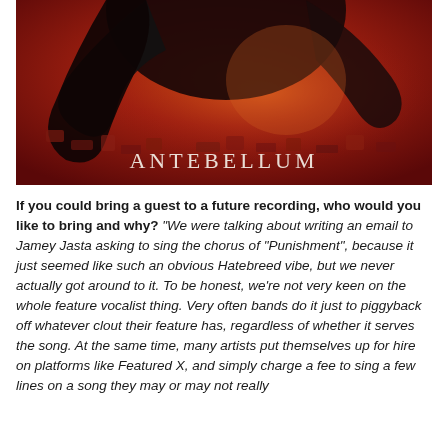[Figure (illustration): Album artwork for 'Antebellum' — dark red and black painted image showing a figure in shadow against a red background with debris. The word ANTEBELLUM is printed in white serif letters at the bottom center of the image.]
If you could bring a guest to a future recording, who would you like to bring and why? "We were talking about writing an email to Jamey Jasta asking to sing the chorus of "Punishment", because it just seemed like such an obvious Hatebreed vibe, but we never actually got around to it. To be honest, we're not very keen on the whole feature vocalist thing. Very often bands do it just to piggyback off whatever clout their feature has, regardless of whether it serves the song. At the same time, many artists put themselves up for hire on platforms like Featured X, and simply charge a fee to sing a few lines on a song they may or may not really